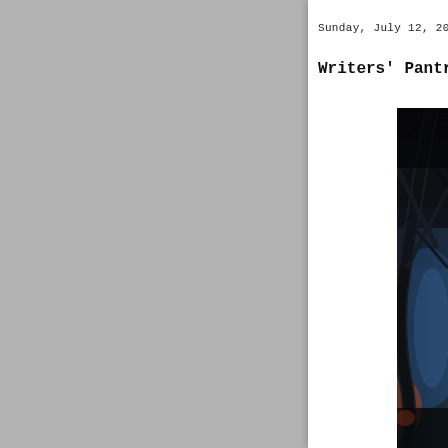Sunday, July 12, 20
Writers' Pantry
[Figure (photo): Dark moody photograph showing industrial or architectural interior with dark ceiling beams, dramatic lighting, a large curved tree branch or structure, and atmospheric blue/orange light visible in the background]